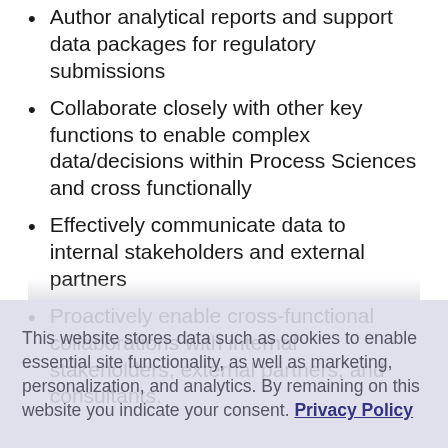Author analytical reports and support data packages for regulatory submissions
Collaborate closely with other key functions to enable complex data/decisions within Process Sciences and cross functionally
Effectively communicate data to internal stakeholders and external partners
Proactively enable cross-functional collaborations with internal stakeholders, external partners, and consultants.
This website stores data such as cookies to enable essential site functionality, as well as marketing, personalization, and analytics. By remaining on this website you indicate your consent. Privacy Policy